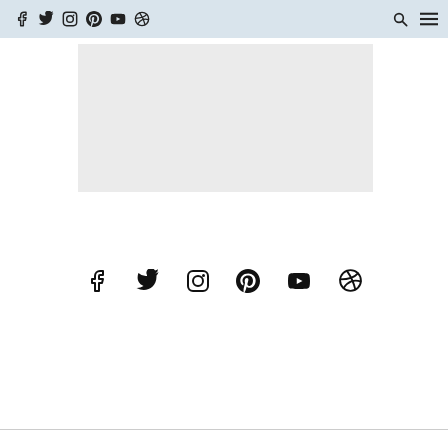Social media navigation bar with icons: Facebook, Twitter, Instagram, Pinterest, YouTube, custom icon, search, menu
[Figure (screenshot): Gray placeholder rectangle representing an image content area]
[Figure (infographic): Footer social media icons row: Facebook, Twitter, Instagram, Pinterest, YouTube, custom icon]